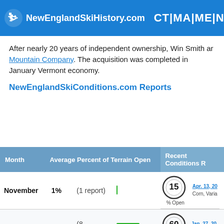NewEnglandSkiHistory.com CT | MA | ME | NH | RI | VT Ski
After nearly 20 years of independent ownership, Win Smith ar Mountain Company. The acquisition was completed in January Vermont economy.
NewEnglandSkiConditions.com Reports
| Month | Average Percent of Terrain Open | Recent Conditions R |
| --- | --- | --- |
| November | 1% | (1 report) | | | 15% Open | Apr. 13, 20... | Corn, Varia... |
| December | 39% | (8 reports) | █████ | 60% Open | Jan. 27, 20... | Powder, Pa... |
| January | 76% | (6 reports) | ████████ | 1% Open | Nov. 24, 20... | Packed Po... |
| February | 84% | (8 reports) | █████████ |  |  |  |
| March | 89% | (6 reports) | █████████ |  |  |  |